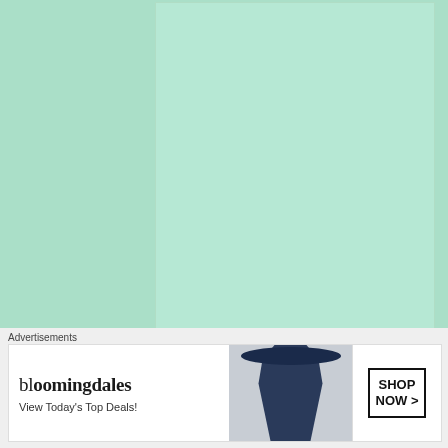[Figure (other): Large teal/mint green advertisement placeholder box at the top of the page]
Advertisements
[Figure (other): Advertisement for a podcast app showing text 'The go-to app for podcast lovers.' with a dark phone device on the right]
Advertisements
[Figure (other): Bloomingdales advertisement banner showing logo, 'View Today's Top Deals!' tagline, a woman with a hat, and a 'SHOP NOW >' button]